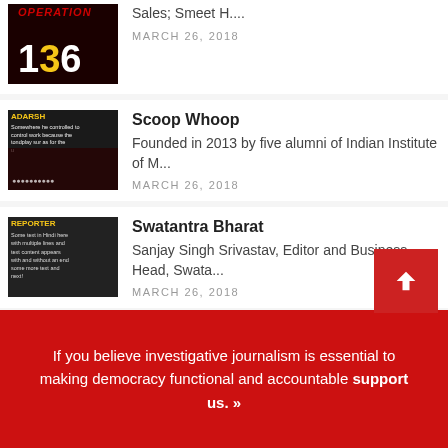Sales; Smeet H.... MARCH 26, 2018
Scoop Whoop — Founded in 2013 by five alumni of Indian Institute of M... MARCH 26, 2018
Swatantra Bharat — Sanjay Singh Srivastav, Editor and Business Head, Swata... MARCH 26, 2018
Press Release: Cobrapost Exclusive — Cobrapost investigation exposes many...
If you believe investigative journalism is essential to making democracy functional and accountable support us. »